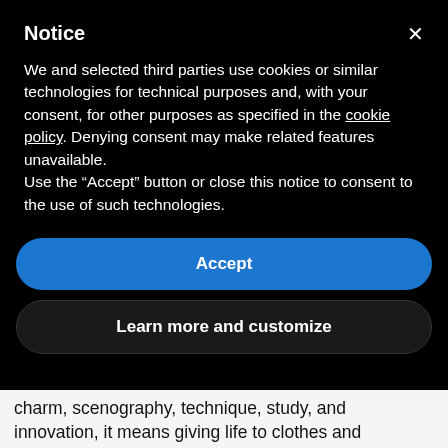Notice
We and selected third parties use cookies or similar technologies for technical purposes and, with your consent, for other purposes as specified in the cookie policy. Denying consent may make related features unavailable.
Use the “Accept” button or close this notice to consent to the use of such technologies.
Accept
Learn more and customize
charm, scenography, technique, study, and innovation, it means giving life to clothes and collections that overcome every barrier, every conception of “appropriate and forbidden” in an attempt to make everyday life legendary. Journalist Dana Thomas collects this legacy in a book that, retracing the career and personal life of the two designers, tells